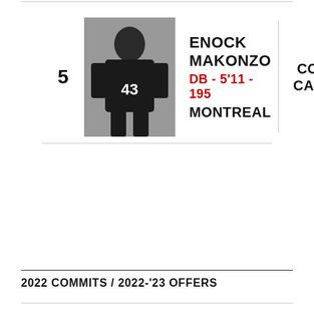| # | Photo | Name / Position / City | School |
| --- | --- | --- | --- |
| 5 | [photo] | ENOCK MAKONZO
DB - 5'11 - 195
MONTREAL | COASTAL CAROLINA |
2022 COMMITS / 2022-'23 OFFERS